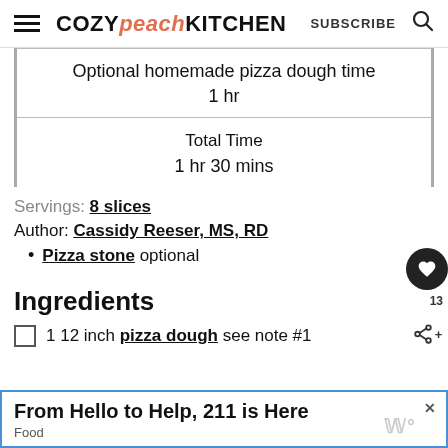COZY peach KITCHEN  SUBSCRIBE
Optional homemade pizza dough time
1 hr
Total Time
1 hr 30 mins
Servings: 8 slices
Author: Cassidy Reeser, MS, RD
Pizza stone optional
Ingredients
1 12 inch pizza dough see note #1
From Hello to Help, 211 is Here
Food